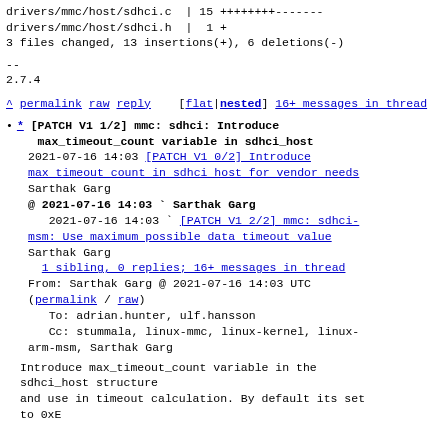drivers/mmc/host/sdhci.c  | 15 ++++++++-------
drivers/mmc/host/sdhci.h  |  1 +
3 files changed, 13 insertions(+), 6 deletions(-)
--
2.7.4
^ permalink raw reply  [flat|nested] 16+ messages in thread
* [PATCH V1 1/2] mmc: sdhci: Introduce max_timeout_count variable in sdhci_host
   2021-07-16 14:03 [PATCH V1 0/2] Introduce max timeout count in sdhci host for vendor needs
   Sarthak Garg
   @ 2021-07-16 14:03 ` Sarthak Garg
     2021-07-16 14:03 ` [PATCH V1 2/2] mmc: sdhci-msm: Use maximum possible data timeout value
   Sarthak Garg
     1 sibling, 0 replies; 16+ messages in thread
   From: Sarthak Garg @ 2021-07-16 14:03 UTC
   (permalink / raw)
     To: adrian.hunter, ulf.hansson
     Cc: stummala, linux-mmc, linux-kernel, linux-arm-msm, Sarthak Garg
Introduce max_timeout_count variable in the sdhci_host structure
and use in timeout calculation. By default its set
to 0xE